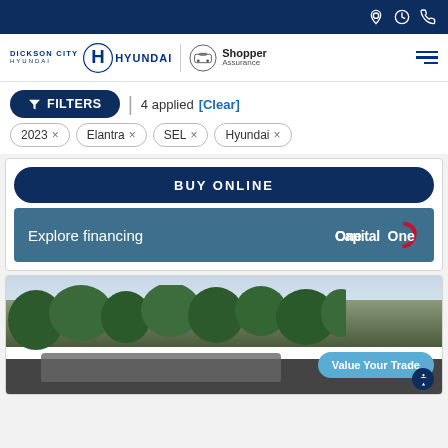Dickson City Hyundai — Shopper Assurance — top navigation bar
[Figure (screenshot): Dickson City Hyundai and Shopper Assurance logos in header]
FILTERS — 4 applied [Clear]
2023 ×
Elantra ×
SEL ×
Hyundai ×
BUY ONLINE
Explore financing
[Figure (logo): Capital One logo]
[Figure (photo): Car dealership exterior with trees and parked car]
Value Your Trade